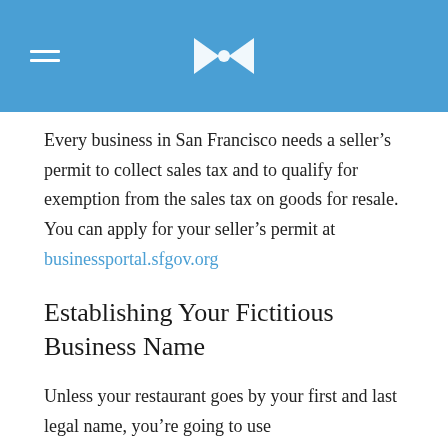Every business in San Francisco needs a seller's permit to collect sales tax and to qualify for exemption from the sales tax on goods for resale. You can apply for your seller's permit at businessportal.sfgov.org
Establishing Your Fictitious Business Name
Unless your restaurant goes by your first and last legal name, you're going to use